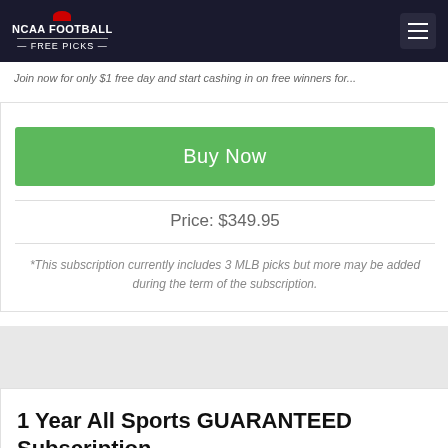NCAA FOOTBALL FREE PICKS
Join now for only $1 free day and start cashing in on free winners for
Buy Now
Price: $349.95
*This subscription currently includes 3 MLB picks but more may be added during the term of the subscription.
1 Year All Sports GUARANTEED Subscription